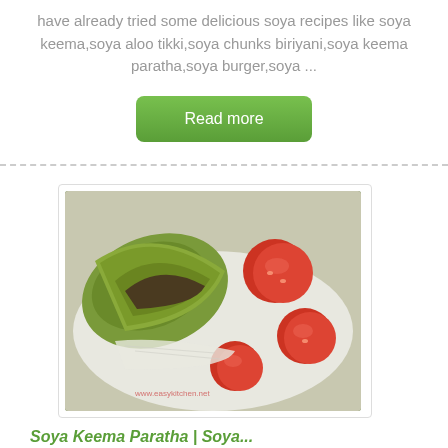have already tried some delicious soya recipes like soya keema,soya aloo tikki,soya chunks biriyani,soya keema paratha,soya burger,soya ...
Read more
[Figure (photo): A plate with green folded flatbreads (soya keema paratha) and sliced cherry tomatoes on a white plate.]
Soya Keema Paratha | Soya...